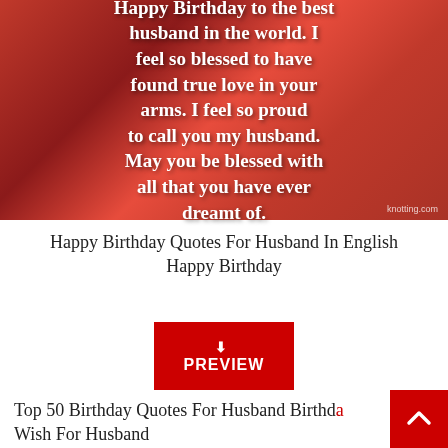[Figure (photo): Red background image with white bold text reading a birthday wish for husband: 'Happy Birthday to the best husband in the world. I feel so blessed to have found true love in your arms. I feel so proud to call you my husband. May you be blessed with all that you have ever dreamt of.' with a small watermark in bottom right corner.]
Happy Birthday Quotes For Husband In English Happy Birthday
[Figure (other): Red PREVIEW button with a download/arrow icon]
Top 50 Birthday Quotes For Husband Birthday Wish For Husband